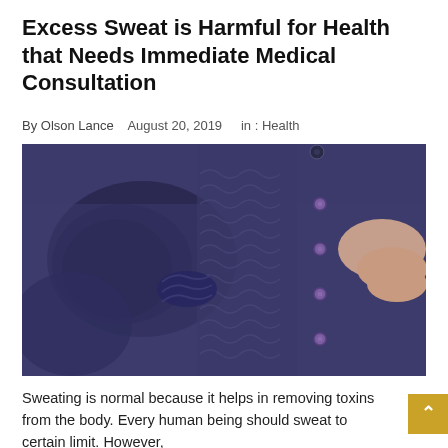Excess Sweat is Harmful for Health that Needs Immediate Medical Consultation
By Olson Lance   August 20, 2019   in : Health
[Figure (photo): Close-up photo of a person wearing a dark navy/purple button-up blouse with lace detailing on the chest, showing a large sweat stain under the armpit area. The person's hand is visible touching the shirt buttons on the right side.]
Sweating is normal because it helps in removing toxins from the body. Every human being should sweat to certain limit. However,